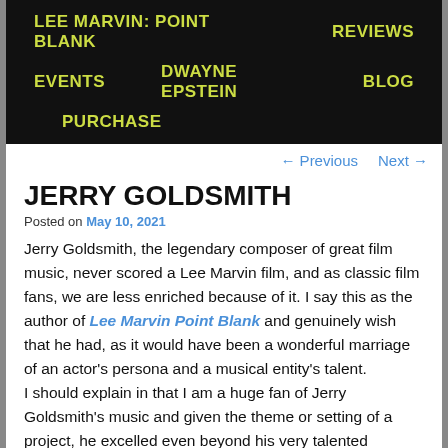LEE MARVIN: POINT BLANK   REVIEWS   EVENTS   DWAYNE EPSTEIN   BLOG   PURCHASE
← Previous   Next →
JERRY GOLDSMITH
Posted on May 10, 2021
Jerry Goldsmith, the legendary composer of great film music, never scored a Lee Marvin film, and as classic film fans, we are less enriched because of it. I say this as the author of Lee Marvin Point Blank and genuinely wish that he had, as it would have been a wonderful marriage of an actor's persona and a musical entity's talent.
I should explain in that I am a huge fan of Jerry Goldsmith's music and given the theme or setting of a project, he excelled even beyond his very talented contemporaries. For example, if a film involved a train as part of the premise and Goldsmith composed the score